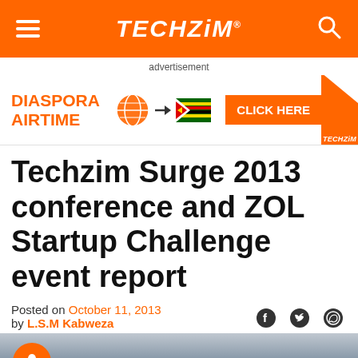TECHZiM
advertisement
[Figure (infographic): Diaspora Airtime advertisement banner with globe icon, arrow, Zimbabwe flag, CLICK HERE button, and Techzim logo corner element]
Techzim Surge 2013 conference and ZOL Startup Challenge event report
Posted on October 11, 2013 by L.S.M Kabweza
[Figure (photo): Photo of conference event audience, partially visible at bottom of page]
#FreeData! This website works even when you don't have data or a bundle (Econet only). Spread the word